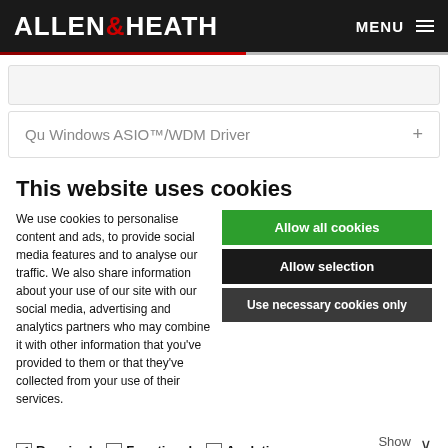ALLEN & HEATH   MENU
Qu Windows ASIO™/WDM Driver
This website uses cookies
We use cookies to personalise content and ads, to provide social media features and to analyse our traffic. We also share information about your use of our site with our social media, advertising and analytics partners who may combine it with other information that you've provided to them or that they've collected from your use of their services.
Allow all cookies
Allow selection
Use necessary cookies only
Required   Functional   Analytics   Advertising   Show details